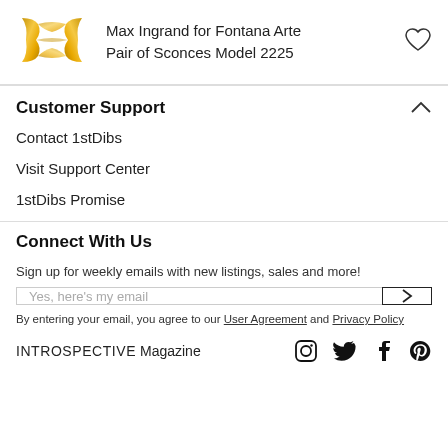Max Ingrand for Fontana Arte Pair of Sconces Model 2225
Customer Support
Contact 1stDibs
Visit Support Center
1stDibs Promise
Connect With Us
Sign up for weekly emails with new listings, sales and more!
Yes, here's my email
By entering your email, you agree to our User Agreement and Privacy Policy
INTROSPECTIVE Magazine